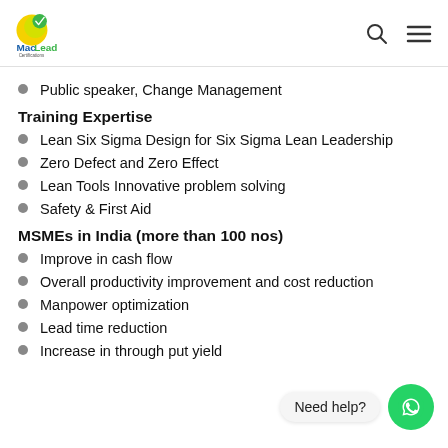MacLead Certifications
Public speaker, Change Management
Training Expertise
Lean Six Sigma Design for Six Sigma Lean Leadership
Zero Defect and Zero Effect
Lean Tools Innovative problem solving
Safety & First Aid
MSMEs in India (more than 100 nos)
Improve in cash flow
Overall productivity improvement and cost reduction
Manpower optimization
Lead time reduction
Increase in through put yield